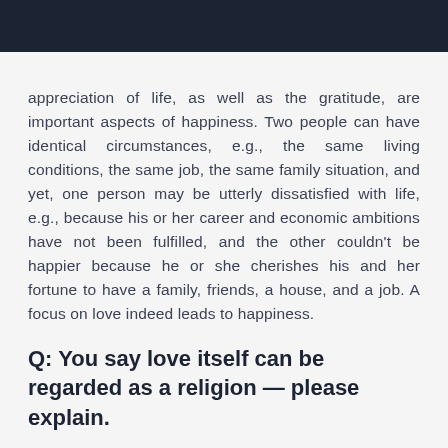appreciation of life, as well as the gratitude, are important aspects of happiness. Two people can have identical circumstances, e.g., the same living conditions, the same job, the same family situation, and yet, one person may be utterly dissatisfied with life, e.g., because his or her career and economic ambitions have not been fulfilled, and the other couldn't be happier because he or she cherishes his and her fortune to have a family, friends, a house, and a job. A focus on love indeed leads to happiness.
Q: You say love itself can be regarded as a religion — please explain.
The concept of love in my book is very much